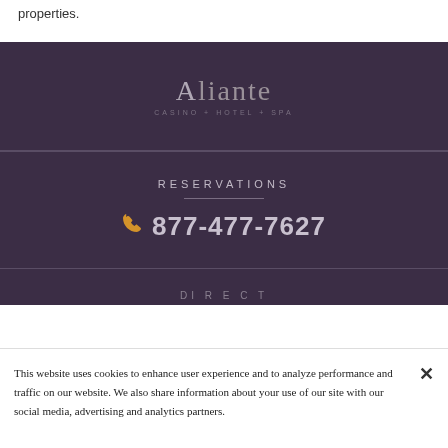properties.
[Figure (logo): Aliante Casino + Hotel + Spa logo in grey/silver text on dark purple background]
RESERVATIONS
877-477-7627
This website uses cookies to enhance user experience and to analyze performance and traffic on our website. We also share information about your use of our site with our social media, advertising and analytics partners.